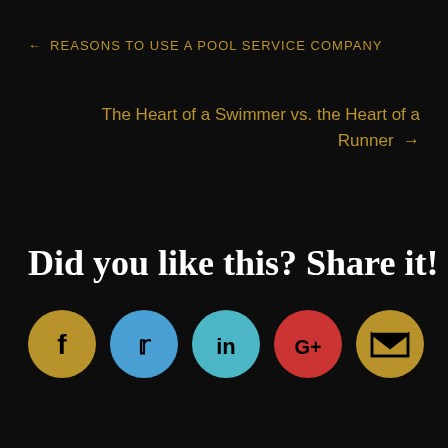← REASONS TO USE A POOL SERVICE COMPANY
The Heart of a Swimmer vs. the Heart of a Runner →
Did you like this? Share it!
[Figure (infographic): Row of 5 social media share buttons: Facebook (gold circle with f), Twitter (blue circle with bird icon), LinkedIn (teal circle with 'in'), Google+ (red circle with G+), Email (gold circle with envelope icon)]